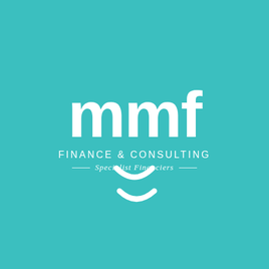[Figure (logo): MMF Finance & Consulting logo — white bold 'mmf' lettering on teal background, with 'FINANCE & CONSULTING' in uppercase sans-serif and 'Specialist Financiers' in italic with decorative lines, plus a loading/smile arc symbol below]